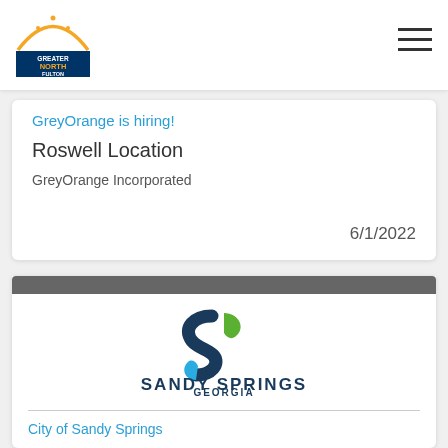[Figure (logo): Greater North Fulton Chamber logo]
GreyOrange is hiring!
Roswell Location
GreyOrange Incorporated
6/1/2022
[Figure (logo): Sandy Springs Georgia logo with stylized S mark in blue and green]
City of Sandy Springs